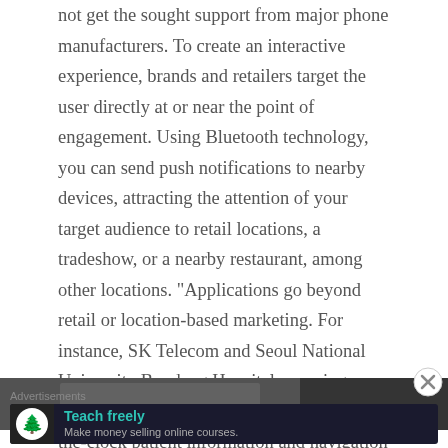not get the sought support from major phone manufacturers. To create an interactive experience, brands and retailers target the user directly at or near the point of engagement. Using Bluetooth technology, you can send push notifications to nearby devices, attracting the attention of your target audience to retail locations, a tradeshow, or a nearby restaurant, among other locations. “Applications go beyond retail or location-based marketing. For instance, SK Telecom and Seoul National University Bundang Hospital are using Bluetooth Smart Beacons to provide round-the-clock patient information and navigation to 6,000 daily patients,” Patel says.
[Figure (photo): Partial image strip visible at bottom of main content area]
Advertisements
[Figure (screenshot): Advertisement banner: dark background with tree/person icon, headline 'Teach freely', subtext 'Make money selling online courses.']